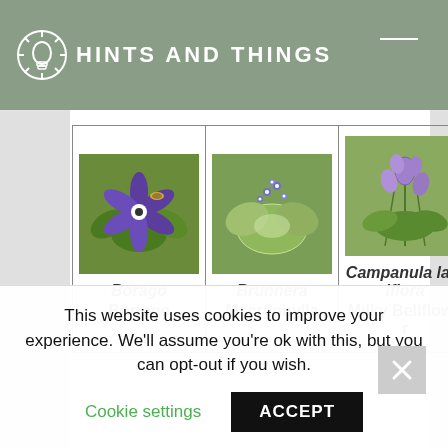HINTS AND THINGS
| Borago / Borrage | Brunnera Macrophylla | Campanula lactiflora / Milky Bellflower |
This website uses cookies to improve your experience. We'll assume you're ok with this, but you can opt-out if you wish.
Cookie settings   ACCEPT